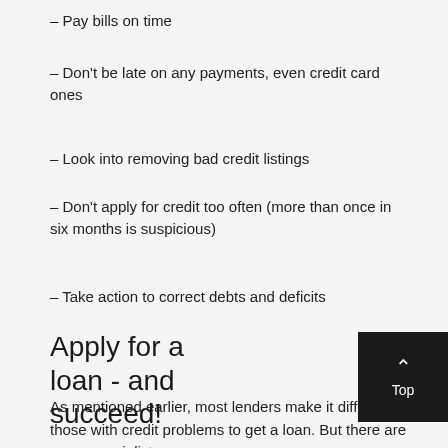– Pay bills on time
– Don't be late on any payments, even credit card ones
– Look into removing bad credit listings
– Don't apply for credit too often (more than once in six months is suspicious)
– Take action to correct debts and deficits
Apply for a loan - and succeed!
As mentioned earlier, most lenders make it difficult for those with credit problems to get a loan. But there are some specialist